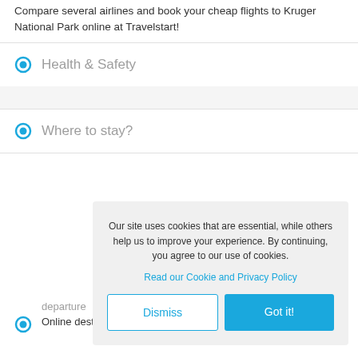Compare several airlines and book your cheap flights to Kruger National Park online at Travelstart!
Health & Safety
Where to stay?
Our site uses cookies that are essential, while others help us to improve your experience. By continuing, you agree to our use of cookies.
Read our Cookie and Privacy Policy
Dismiss
Got it!
departure
Online destinations for planning your travels